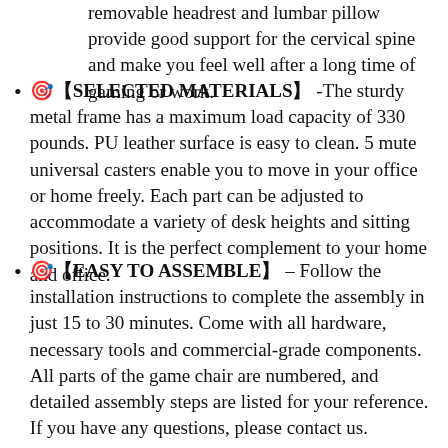removable headrest and lumbar pillow provide good support for the cervical spine and make you feel well after a long time of gaming or work.
🎯【SELECTED MATERIALS】-The sturdy metal frame has a maximum load capacity of 330 pounds. PU leather surface is easy to clean. 5 mute universal casters enable you to move in your office or home freely. Each part can be adjusted to accommodate a variety of desk heights and sitting positions. It is the perfect complement to your home and office.
🎯【EASY TO ASSEMBLE】– Follow the installation instructions to complete the assembly in just 15 to 30 minutes. Come with all hardware, necessary tools and commercial-grade components. All parts of the game chair are numbered, and detailed assembly steps are listed for your reference. If you have any questions, please contact us.